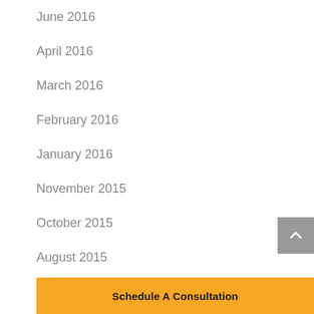June 2016
April 2016
March 2016
February 2016
January 2016
November 2015
October 2015
August 2015
July 2015
Schedule A Consultation